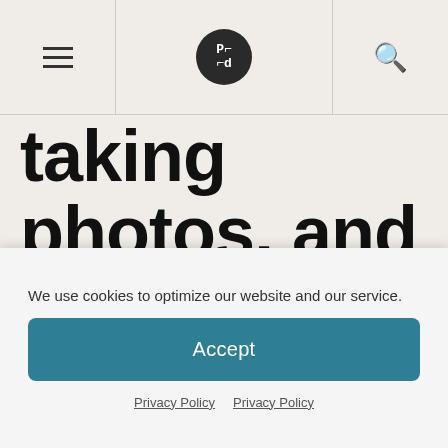Navigation bar with hamburger menu, PL/d logo, and search icon
taking photos, and what have you done to hone your skills along the way?
We use cookies to optimize our website and our service.
Accept
Privacy Policy  Privacy Policy